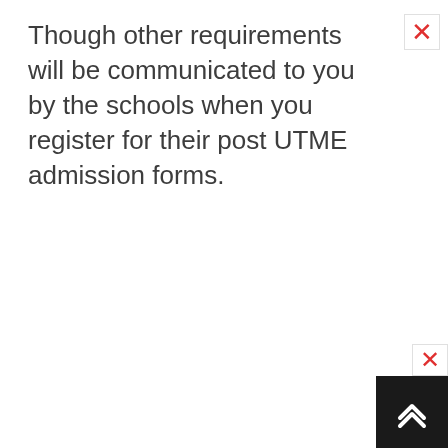Though other requirements will be communicated to you by the schools when you register for their post UTME admission forms.